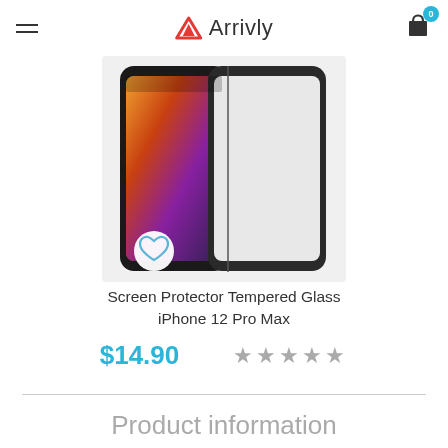Arrivly
[Figure (photo): Product image of a Screen Protector Tempered Glass for iPhone 12 Pro Max, showing a tempered glass screen protector placed over an iPhone with a colorful wallpaper, with a heart/wishlist button in the bottom-left corner]
Screen Protector Tempered Glass iPhone 12 Pro Max
$14.90  ★★★★★
Product information